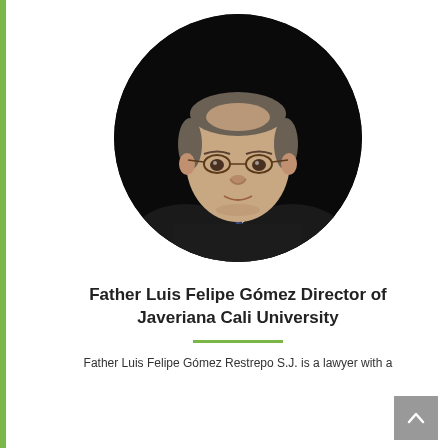[Figure (photo): Circular portrait photo of Father Luis Felipe Gómez, a middle-aged man wearing glasses, a dark suit, white shirt, and blue patterned tie, photographed against a black background.]
Father Luis Felipe Gómez Director of Javeriana Cali University
Father Luis Felipe Gómez Restrepo S.J. is a lawyer with a